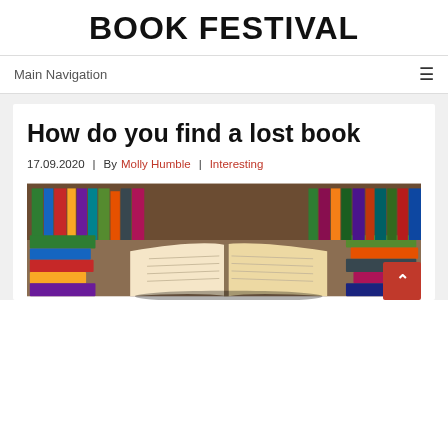BOOK FESTIVAL
Main Navigation
How do you find a lost book
17.09.2020  |  By Molly Humble  |  Interesting
[Figure (photo): Stacks of colorful books with an open book in the foreground, library shelves in the background]